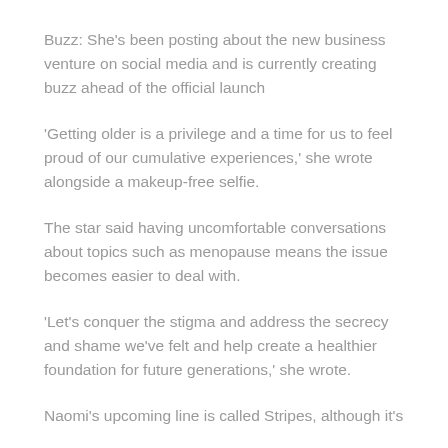Buzz: She's been posting about the new business venture on social media and is currently creating buzz ahead of the official launch
'Getting older is a privilege and a time for us to feel proud of our cumulative experiences,' she wrote alongside a makeup-free selfie.
The star said having uncomfortable conversations about topics such as menopause means the issue becomes easier to deal with.
'Let's conquer the stigma and address the secrecy and shame we've felt and help create a healthier foundation for future generations,' she wrote.
Naomi's upcoming line is called Stripes, although it's